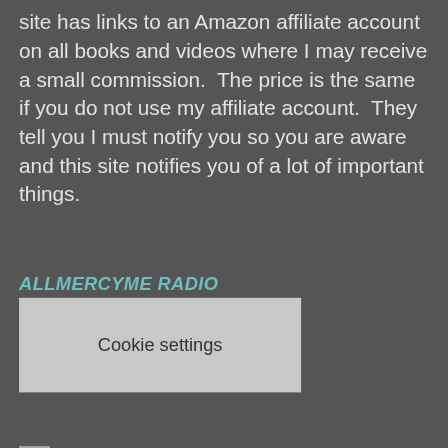site has links to an Amazon affiliate account on all books and videos where I may receive a small commission.  The price is the same if you do not use my affiliate account.  They tell you I must notify you so you are aware and this site notifies you of a lot of important things.
Cookie settings
[Figure (other): Broken image icon (small placeholder image)]
RAISE UP DAILY PREVENT TRUTH DECAY
Living on the Edge
Harvest
From His Heart
Insight For Living
Grace to You
In Touch
Accept all cookies
Decline cookies